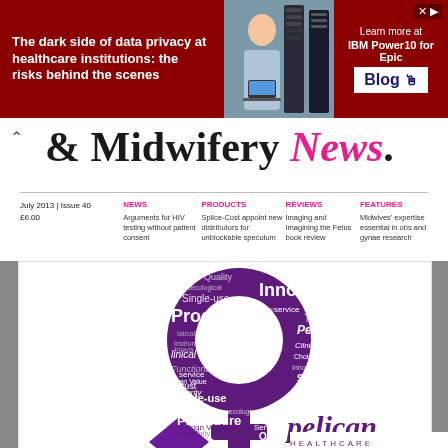[Figure (infographic): Red advertisement banner: 'The dark side of data privacy at healthcare institutions: the risks behind the scenes' with person and IBM Power10 for Epic Blog button]
& Midwifery News.
July 2013 | Issue 40
£6.00
NEWS
Arguments for HIV testing without patient consent
PRODUCTS
Splice-Cost appoint new distributors for unblockable speculum
REVIEWS
Imaging and Imagining the Fetus book review
FEATURES
Midwives' expertise essential in obs and gynae research
[Figure (illustration): Large purple female symbol (Venus/gender symbol) made of healthcare word cloud including words: Quality, Innovation, Procedure, Sterile, Single-use, Pelican, Functionality, Integrity, PELIS, Service, Trust, single-use, Instruments, Gynaecological, Value Design, Clinical, Choice Value. Pelican Feminine Healthcare logo at bottom right.]